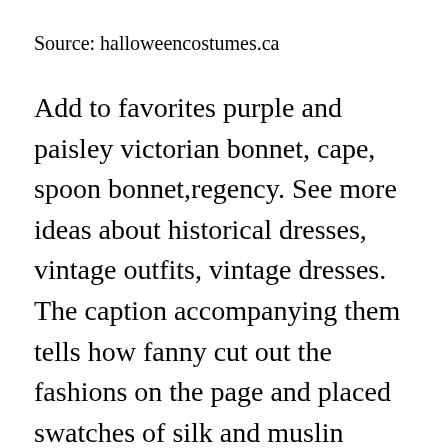Source: halloweencostumes.ca
Add to favorites purple and paisley victorian bonnet, cape, spoon bonnet,regency. See more ideas about historical dresses, vintage outfits, vintage dresses. The caption accompanying them tells how fanny cut out the fashions on the page and placed swatches of silk and muslin behind the engravings so that. Gift guides gifts for her gifts for him gifts for kids gifts for pets. Fashion prints also spawned